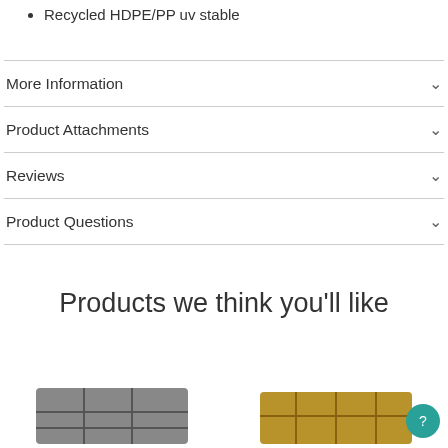Recycled HDPE/PP uv stable
More Information
Product Attachments
Reviews
Product Questions
Products we think you'll like
[Figure (photo): Two product images at the bottom: a grey grid-compartment tray on the left and a wooden crate on the right]